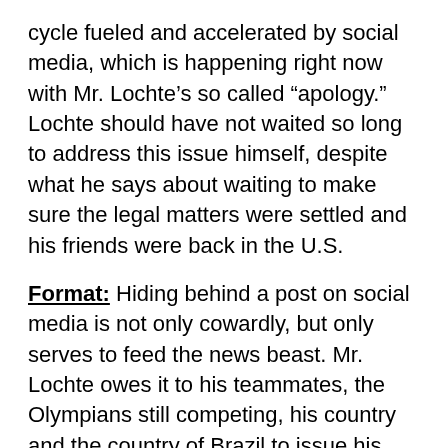cycle fueled and accelerated by social media, which is happening right now with Mr. Lochte’s so called “apology.” Lochte should have not waited so long to address this issue himself, despite what he says about waiting to make sure the legal matters were settled and his friends were back in the U.S.
Format: Hiding behind a post on social media is not only cowardly, but only serves to feed the news beast. Mr. Lochte owes it to his teammates, the Olympians still competing, his country and the country of Brazil to issue his apology in front of cameras, the same way he cried wolf with The Today Show.
Interview: Mr. Lochte should also consider a one on one interview to talk about this incident. It will probably be the toughest interview he has done in his life, but by